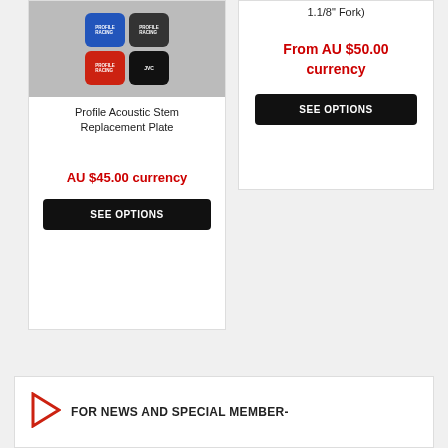[Figure (photo): Photo of Profile Acoustic Stem Replacement Plates in blue, dark gray, red, and black colors]
Profile Acoustic Stem Replacement Plate
AU $45.00 currency
SEE OPTIONS
1.1/8" Fork)
From AU $50.00 currency
SEE OPTIONS
FOR NEWS AND SPECIAL MEMBER-